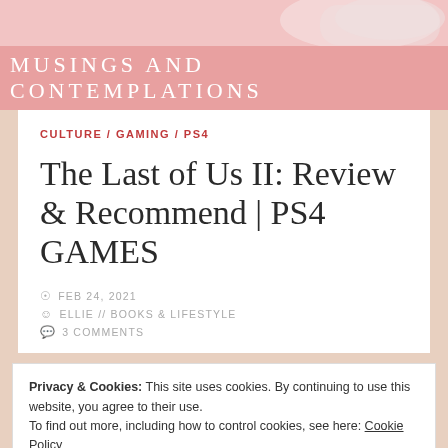[Figure (photo): Pink banner header with partial white PS4 controller visible at top right, with 'MUSINGS AND CONTEMPLATIONS' text overlay on a darker pink bar]
CULTURE / GAMING / PS4
The Last of Us II: Review & Recommend | PS4 GAMES
FEB 24, 2021
ELLIE // BOOKS & LIFESTYLE
3 COMMENTS
Privacy & Cookies: This site uses cookies. By continuing to use this website, you agree to their use.
To find out more, including how to control cookies, see here: Cookie Policy
Close and accept